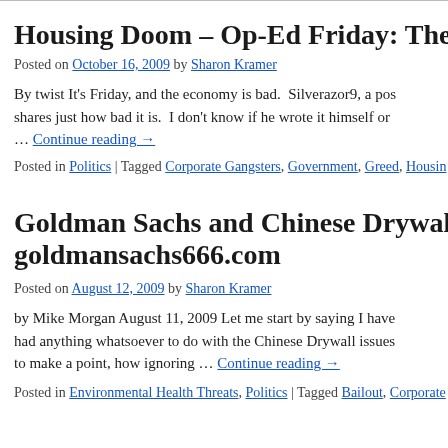Housing Doom – Op-Ed Friday: The Econ…
Posted on October 16, 2009 by Sharon Kramer
By twist It's Friday, and the economy is bad.  Silverazor9, a pos… shares just how bad it is.  I don't know if he wrote it himself or … … Continue reading →
Posted in Politics | Tagged Corporate Gangsters, Government, Greed, Housin…
Goldman Sachs and Chinese Drywall – p… goldmansachs666.com
Posted on August 12, 2009 by Sharon Kramer
by Mike Morgan August 11, 2009 Let me start by saying I have… had anything whatsoever to do with the Chinese Drywall issues… to make a point, how ignoring … Continue reading →
Posted in Environmental Health Threats, Politics | Tagged Bailout, Corporate…